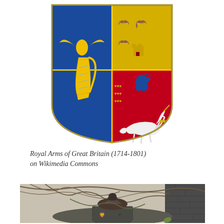[Figure (illustration): Royal Arms of Great Britain (1714-1801): a heraldic shield divided into quarters. Left half shows blue field with golden harp and winged figure (Ireland). Right half shows red and yellow quarters with lions rampant and a blue lion (England/Scotland). A white unicorn is shown at the bottom right of the shield.]
Royal Arms of Great Britain (1714-1801) on Wikimedia Commons
[Figure (photo): Photograph of an old overgrown stone or metal heraldic sculpture/monument, partially covered in vines and branches. Shows a carved shield with lions and fleur-de-lis motifs, topped by what appears to be a weathered metal figure or crest. A brick wall is visible in the background.]